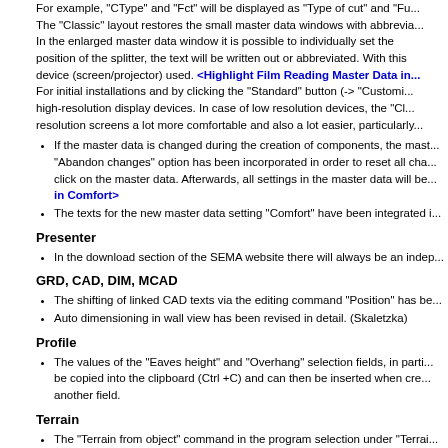For example, "CType" and "Fct" will be displayed as "Type of cut" and "Fu... The "Classic" layout restores the small master data windows with abbrevia... In the enlarged master data window it is possible to individually set the position of the splitter, the text will be written out or abbreviated. With this device (screen/projector) used. <Highlight Film Reading Master Data in...> For initial installations and by clicking the "Standard" button (-> "Customi... high-resolution display devices. In case of low resolution devices, the "Cl... resolution screens a lot more comfortable and also a lot easier, particularly...
If the master data is changed during the creation of components, the mast... "Abandon changes" option has been incorporated in order to reset all cha... click on the master data. Afterwards, all settings in the master data will be... in Comfort>
The texts for the new master data setting "Comfort" have been integrated i...
Presenter
In the download section of the SEMA website there will always be an indep...
GRD, CAD, DIM, MCAD
The shifting of linked CAD texts via the editing command "Position" has be...
Auto dimensioning in wall view has been revised in detail. (Skaletzka)
Profile
The values of the "Eaves height" and "Overhang" selection fields, in parti... be copied into the clipboard (Ctrl +C) and can then be inserted when cre... another field.
Terrain
The "Terrain from object" command in the program selection under "Terrai... available in the "Terrain from object" command in the bottom entry line.